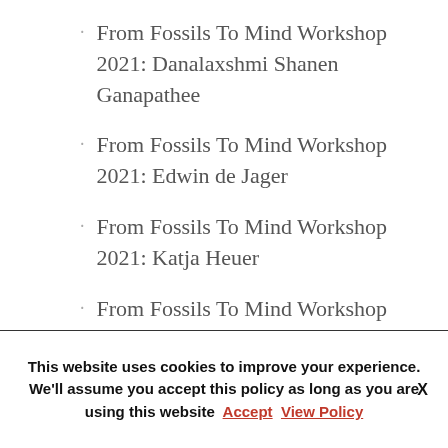From Fossils To Mind Workshop 2021: Danalaxshmi Shanen Ganapathee
From Fossils To Mind Workshop 2021: Edwin de Jager
From Fossils To Mind Workshop 2021: Katja Heuer
From Fossils To Mind Workshop 2021: Mathilde Salagnon
From Fossils To Mind Workshop 2021: Nicole Labra Avila
From Fossils To Mind Workshop 2021: Orlin S
This website uses cookies to improve your experience. We'll assume you accept this policy as long as you are using this website Accept View Policy